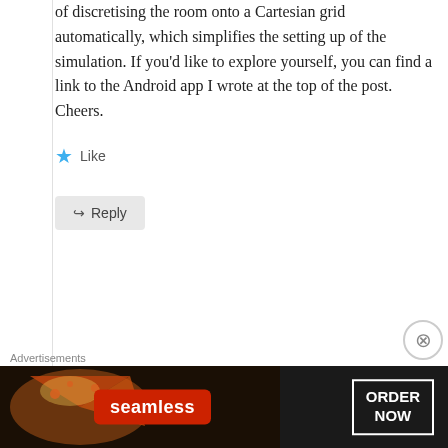of discretising the room onto a Cartesian grid automatically, which simplifies the setting up of the simulation. If you'd like to explore yourself, you can find a link to the Android app I wrote at the top of the post. Cheers.
★ Like
↪ Reply
Petr
November 6, 2014 at 3:28 pm
···
[Figure (screenshot): Advertisement banner for Seamless food ordering app showing pizza in background, Seamless logo in red, and ORDER NOW button]